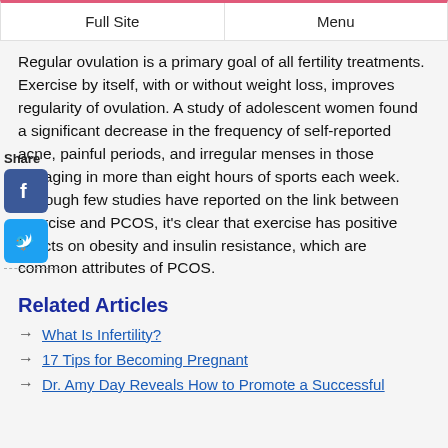Full Site | Menu
Regular ovulation is a primary goal of all fertility treatments. Exercise by itself, with or without weight loss, improves regularity of ovulation. A study of adolescent women found a significant decrease in the frequency of self-reported acne, painful periods, and irregular menses in those engaging in more than eight hours of sports each week. Although few studies have reported on the link between exercise and PCOS, it's clear that exercise has positive effects on obesity and insulin resistance, which are common attributes of PCOS.
Related Articles
What Is Infertility?
17 Tips for Becoming Pregnant
Dr. Amy Day Reveals How to Promote a Successful Pregnancy